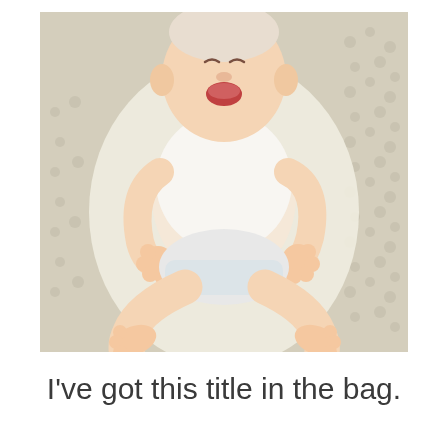[Figure (photo): A baby lying on its back on a textured cream/beige knit blanket, wearing a white sleeveless outfit and a diaper with a cartoon character print. The baby's mouth is open and legs are bent upward.]
I've got this title in the bag.